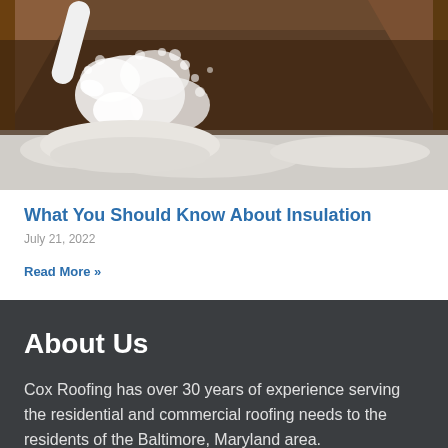[Figure (photo): A white hose blowing loose-fill insulation (white fluffy material) into an attic space with wooden rafters visible in the background.]
What You Should Know About Insulation
July 21, 2022
Read More »
About Us
Cox Roofing has over 30 years of experience serving the residential and commercial roofing needs to the residents of the Baltimore, Maryland area.